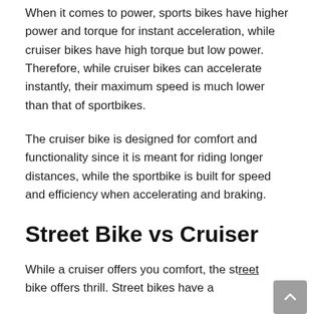When it comes to power, sports bikes have higher power and torque for instant acceleration, while cruiser bikes have high torque but low power. Therefore, while cruiser bikes can accelerate instantly, their maximum speed is much lower than that of sportbikes.
The cruiser bike is designed for comfort and functionality since it is meant for riding longer distances, while the sportbike is built for speed and efficiency when accelerating and braking.
Street Bike vs Cruiser
While a cruiser offers you comfort, the street bike offers thrill. Street bikes have a